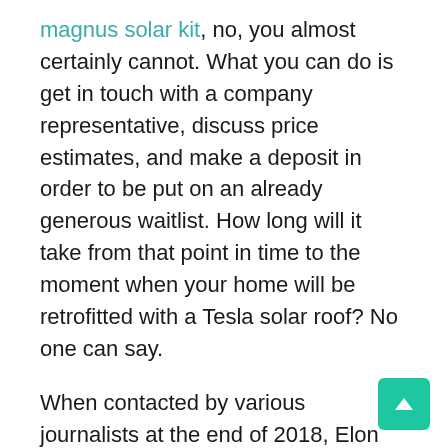magnus solar kit, no, you almost certainly cannot. What you can do is get in touch with a company representative, discuss price estimates, and make a deposit in order to be put on an already generous waitlist. How long will it take from that point in time to the moment when your home will be retrofitted with a Tesla solar roof? No one can say.
When contacted by various journalists at the end of 2018, Elon Musk commented that the Tesla solar roof shingles must be rigorously tested before being shipped to customers and, as such, it will be some time before all orders are completed. In fact, he led the CEO...